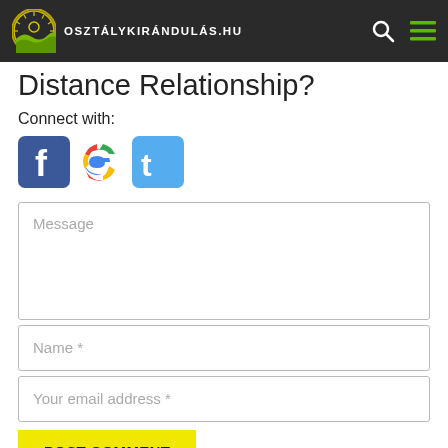osztálykirándulás.hu
Distance Relationship?
Connect with:
[Figure (illustration): Social media icons: Facebook, Google+, Twitter]
Message
Name *
Your email address *
POST COMMENT